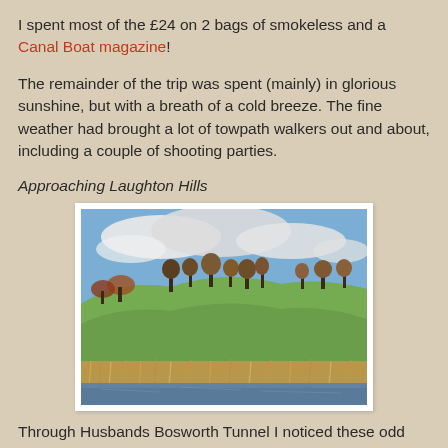I spent most of the £24 on 2 bags of smokeless and a Canal Boat magazine!
The remainder of the trip was spent (mainly) in glorious sunshine, but with a breath of a cold breeze. The fine weather had brought a lot of towpath walkers out and about, including a couple of shooting parties.
Approaching Laughton Hills
[Figure (photo): Landscape photograph showing rolling green hills with bare autumn trees along the ridgeline, a cloudy blue sky above, dry golden reeds along a canal bank in the foreground, and calm water reflecting the scene.]
Through Husbands Bosworth Tunnel I noticed these odd